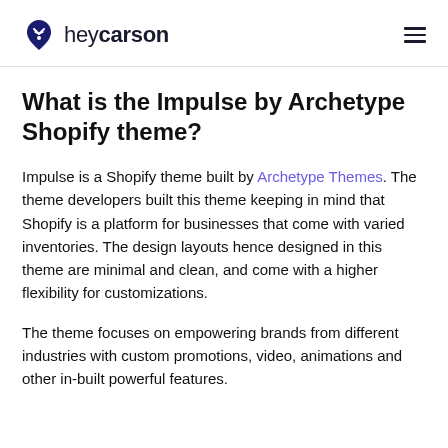heycarson
What is the Impulse by Archetype Shopify theme?
Impulse is a Shopify theme built by Archetype Themes. The theme developers built this theme keeping in mind that Shopify is a platform for businesses that come with varied inventories. The design layouts hence designed in this theme are minimal and clean, and come with a higher flexibility for customizations.
The theme focuses on empowering brands from different industries with custom promotions, video, animations and other in-built powerful features.